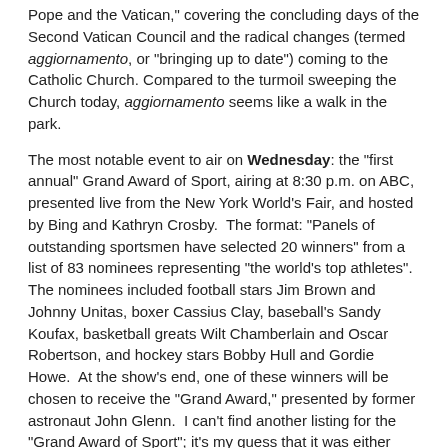Pope and the Vatican," covering the concluding days of the Second Vatican Council and the radical changes (termed aggiornamento, or "bringing up to date") coming to the Catholic Church. Compared to the turmoil sweeping the Church today, aggiornamento seems like a walk in the park.
The most notable event to air on Wednesday: the "first annual" Grand Award of Sport, airing at 8:30 p.m. on ABC, presented live from the New York World's Fair, and hosted by Bing and Kathryn Crosby. The format: "Panels of outstanding sportsmen have selected 20 winners" from a list of 83 nominees representing "the world's top athletes". The nominees included football stars Jim Brown and Johnny Unitas, boxer Cassius Clay, baseball's Sandy Koufax, basketball greats Wilt Chamberlain and Oscar Robertson, and hockey stars Bobby Hull and Gordie Howe. At the show's end, one of these winners will be chosen to receive the "Grand Award," presented by former astronaut John Glenn. I can't find another listing for the "Grand Award of Sport"; it's my guess that it was either replaced or folded into the Victor Awards, which began (coincidentally?) the very next year, 1966.